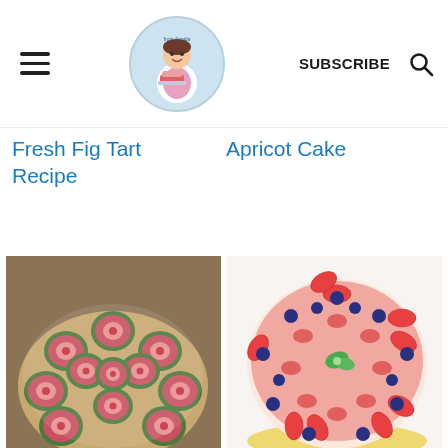Header with hamburger menu, site logo, SUBSCRIBE button, and search icon
Fresh Fig Tart Recipe
Apricot Cake
[Figure (photo): Close-up photo of sliced fresh figs arranged in a circular pattern on a tart, showing pink-red interior flesh with green skin borders]
[Figure (photo): Photo of a round cake decorated with sliced strawberries and blueberries arranged in a floral pattern on a pink glazed surface, with a mint leaf in the center]
[Figure (photo): Partially visible white plate or bowl at bottom left]
[Figure (photo): Partially visible light-colored dessert image at bottom right]